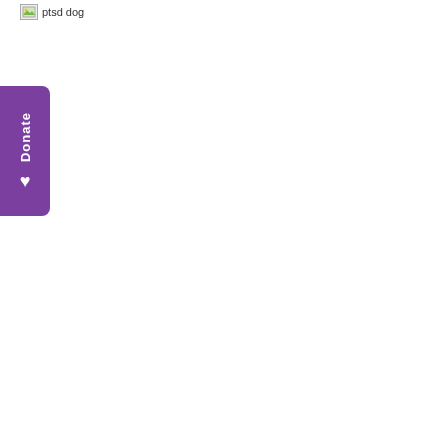[Figure (other): Broken image placeholder with alt text 'ptsd dog']
[Figure (other): Purple donate button with heart icon, positioned on the left edge. Text reads 'Donate' vertically with a heart symbol below.]